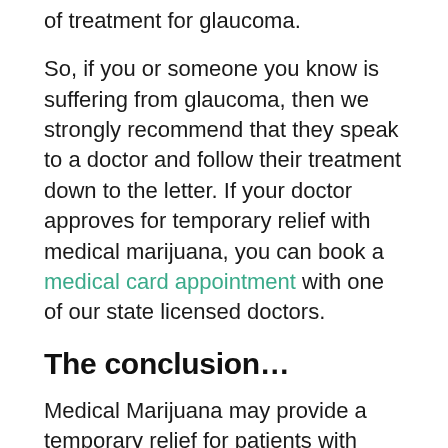of treatment for glaucoma.
So, if you or someone you know is suffering from glaucoma, then we strongly recommend that they speak to a doctor and follow their treatment down to the letter. If your doctor approves for temporary relief with medical marijuana, you can book a medical card appointment with one of our state licensed doctors.
The conclusion…
Medical Marijuana may provide a temporary relief for patients with glaucoma but the long term efficacy for using it as a medicine 24 hours a day may not be realistic or better than other current medicine treatments.